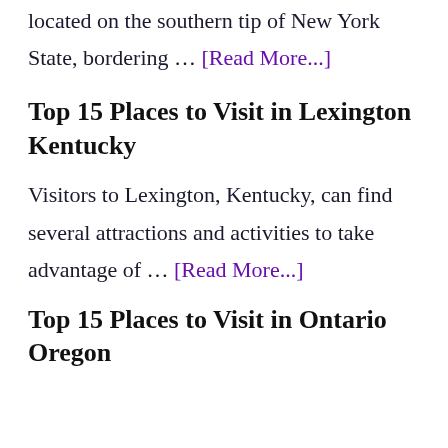located on the southern tip of New York State, bordering … [Read More...]
Top 15 Places to Visit in Lexington Kentucky
Visitors to Lexington, Kentucky, can find several attractions and activities to take advantage of … [Read More...]
Top 15 Places to Visit in Ontario Oregon